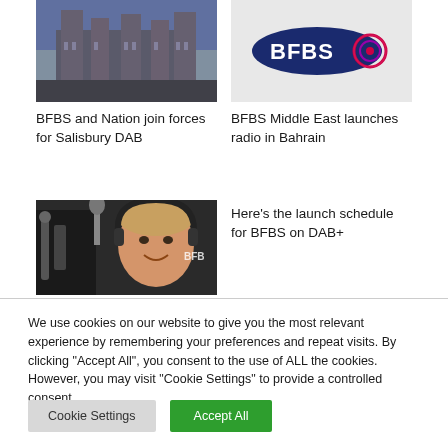[Figure (photo): Photo of a cathedral building with gothic architecture]
[Figure (logo): BFBS logo - dark blue oval with BFBS text and a target/circle icon on the right]
BFBS and Nation join forces for Salisbury DAB
BFBS Middle East launches radio in Bahrain
[Figure (photo): Photo of a male radio DJ wearing headphones and smiling, with microphone equipment and BFBS branding visible]
Here's the launch schedule for BFBS on DAB+
We use cookies on our website to give you the most relevant experience by remembering your preferences and repeat visits. By clicking "Accept All", you consent to the use of ALL the cookies. However, you may visit "Cookie Settings" to provide a controlled consent.